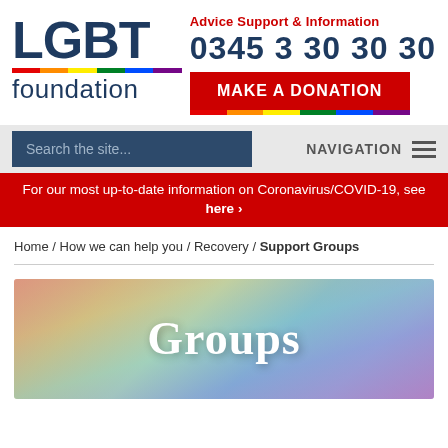[Figure (logo): LGBT Foundation logo with rainbow stripe and 'foundation' text]
Advice Support & Information
0345 3 30 30 30
MAKE A DONATION
Search the site... NAVIGATION
For our most up-to-date information on Coronavirus/COVID-19, see here ›
Home / How we can help you / Recovery / Support Groups
Groups